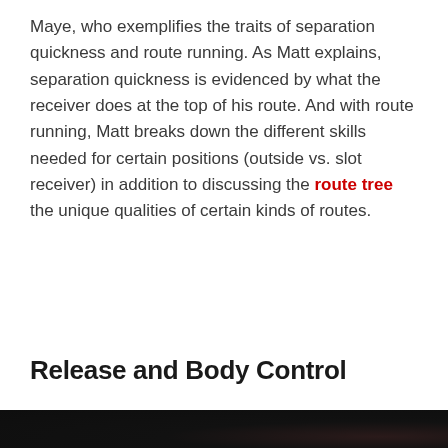Maye, who exemplifies the traits of separation quickness and route running. As Matt explains, separation quickness is evidenced by what the receiver does at the top of his route. And with route running, Matt breaks down the different skills needed for certain positions (outside vs. slot receiver) in addition to discussing the route tree the unique qualities of certain kinds of routes.
Release and Body Control
[Figure (photo): Dark, mostly black image — appears to be a video thumbnail or screenshot with very low lighting. Faint reddish element visible in the lower right area.]